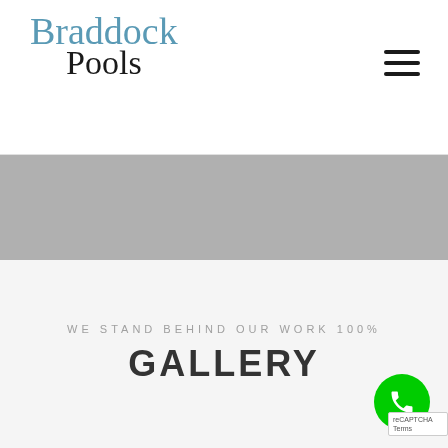Braddock Pools
[Figure (other): Gray banner/hero image placeholder]
WE STAND BEHIND OUR WORK 100%
GALLERY
[Figure (other): Green phone call button icon in bottom right corner]